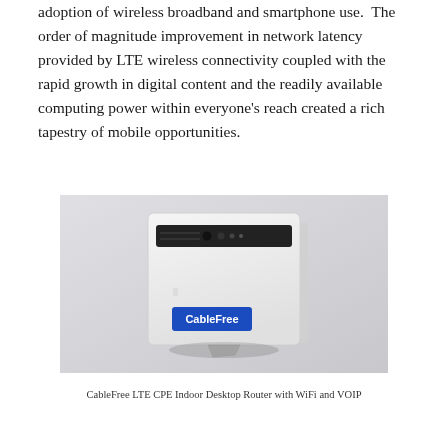adoption of wireless broadband and smartphone use.  The order of magnitude improvement in network latency provided by LTE wireless connectivity coupled with the rapid growth in digital content and the readily available computing power within everyone's reach created a rich tapestry of mobile opportunities.
[Figure (photo): Photo of a CableFree LTE CPE Indoor Desktop Router with WiFi and VOIP — a white rectangular device with a black strip near the top and a blue CableFree logo label on the front, photographed against a light gray background.]
CableFree LTE CPE Indoor Desktop Router with WiFi and VOIP